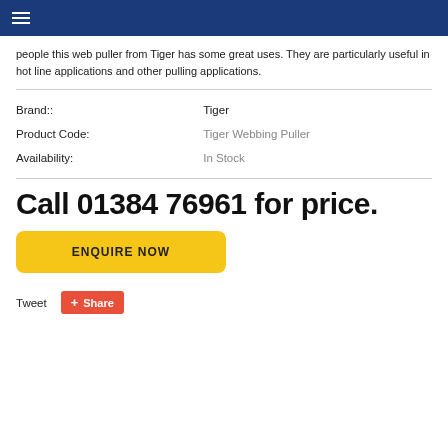Navigation bar with hamburger menu
people this web puller from Tiger has some great uses. They are particularly useful in hot line applications and other pulling applications.
|  |  |
| --- | --- |
| Brand:: | Tiger |
| Product Code: | Tiger Webbing Puller |
| Availability: | In Stock |
Call 01384 76961 for price.
ENQUIRE NOW
Tweet
Share